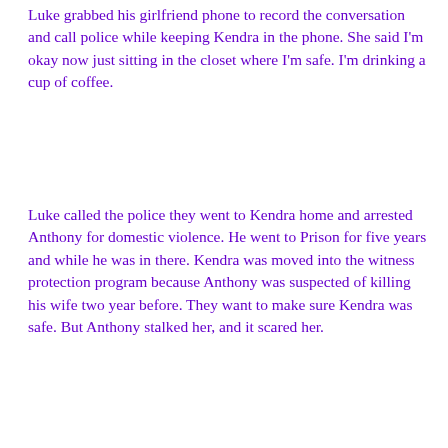Luke grabbed his girlfriend phone to record the conversation and call police while keeping Kendra in the phone. She said I'm okay now just sitting in the closet where I'm safe. I'm drinking a cup of coffee.
Luke called the police they went to Kendra home and arrested Anthony for domestic violence. He went to Prison for five years and while he was in there. Kendra was moved into the witness protection program because Anthony was suspected of killing his wife two year before. They want to make sure Kendra was safe. But Anthony stalked her, and it scared her.